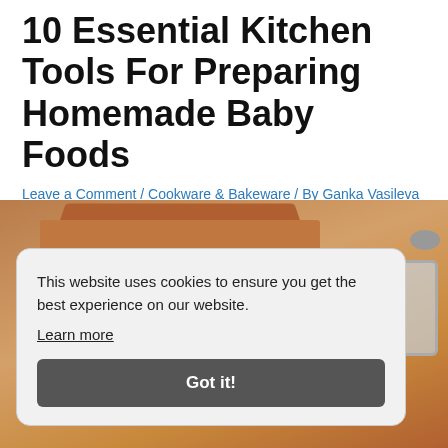10 Essential Kitchen Tools For Preparing Homemade Baby Foods
Leave a Comment / Cookware & Bakeware / By Ganka Vasileva
[Figure (photo): Photo of kitchen bakeware items including copper/brown baking trays and a glass jar with metal clips, partially visible behind a cookie consent popup.]
This website uses cookies to ensure you get the best experience on our website. Learn more
Got it!